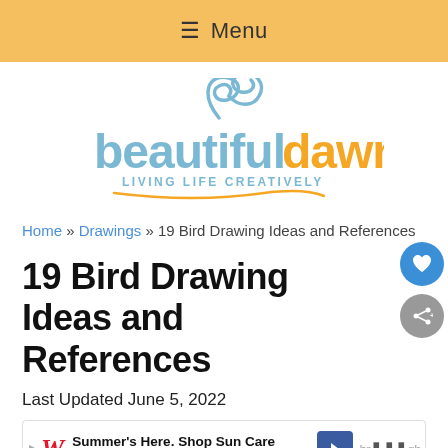≡ Menu
[Figure (logo): Beautiful Dawn - Living Life Creatively logo with decorative swirl above text. 'beautiful' in blue, 'dawn' in orange/gold, tagline 'LIVING LIFE CREATIVELY' in blue capitals with orange underline swirl.]
Home » Drawings » 19 Bird Drawing Ideas and References
19 Bird Drawing Ideas and References
Last Updated June 5, 2022
[Figure (screenshot): Advertisement banner: Walgreens Photo ad - 'Summer's Here. Shop Sun Care' with Walgreens W logo, navigation arrow icon, and partial text on right side.]